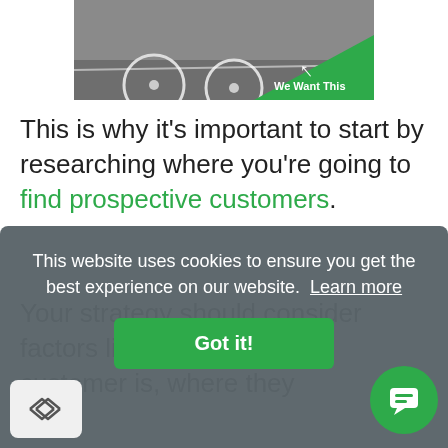[Figure (photo): Photo of bicycles on a road with a green triangle overlay in the bottom-right corner reading 'We Want This' with an upward-left arrow.]
This is why it's important to start by researching where you're going to find prospective customers.
Your strategy should consider factors like who your target customer is, where they
This website uses cookies to ensure you get the best experience on our website. Learn more
Got it!